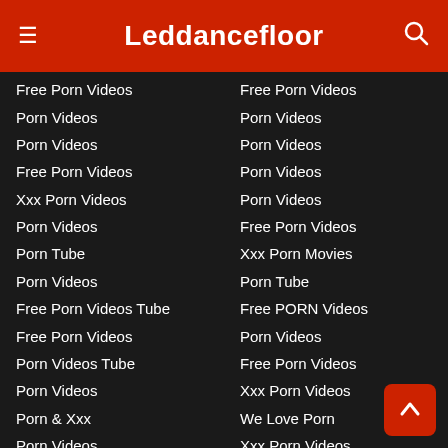Leddancefloor
Free Porn Videos
Porn Videos
Porn Videos
Free Porn Videos
Xxx Porn Videos
Porn Videos
Porn Tube
Porn Videos
Free Porn Videos Tube
Free Porn Videos
Porn Videos Tube
Porn Videos
Porn & Xxx
Porn Videos
Porn Videos
Free Porn Videos
Free Online Porn Videos
Porn Videos
Porn Videos
Porn Videos
Free Porn Videos
Porn Videos
Porn Videos
Porn Videos
Free Porn Videos
Xxx Porn Movies
Porn Tube
Free PORN Videos
Porn Videos
Free Porn Videos
Xxx Porn Videos
We Love Porn
Xxx Porn Videos
Porn Videos
Shemale Porn
Просто Порно Видео
Free Porn Tube
Porn Teens Tube
Porn Videos